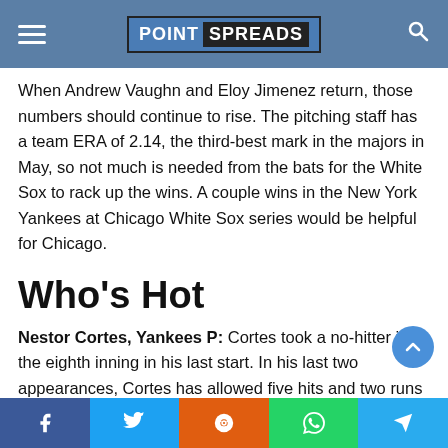POINT SPREADS
When Andrew Vaughn and Eloy Jimenez return, those numbers should continue to rise. The pitching staff has a team ERA of 2.14, the third-best mark in the majors in May, so not much is needed from the bats for the White Sox to rack up the wins. A couple wins in the New York Yankees at Chicago White Sox series would be helpful for Chicago.
Who's Hot
Nestor Cortes, Yankees P: Cortes took a no-hitter into the eighth inning in his last start. In his last two appearances, Cortes has allowed five hits and two runs with 14 strikeouts in 11.1 innings. His eight walks in those two games could be a cause for concern.